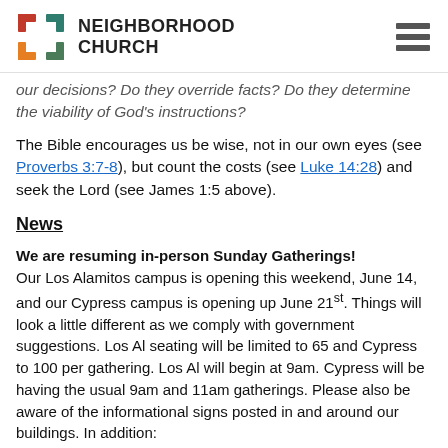NEIGHBORHOOD CHURCH
our decisions? Do they override facts? Do they determine the viability of God's instructions?
The Bible encourages us be wise, not in our own eyes (see Proverbs 3:7-8), but count the costs (see Luke 14:28) and seek the Lord (see James 1:5 above).
News
We are resuming in-person Sunday Gatherings! Our Los Alamitos campus is opening this weekend, June 14, and our Cypress campus is opening up June 21st. Things will look a little different as we comply with government suggestions. Los Al seating will be limited to 65 and Cypress to 100 per gathering. Los Al will begin at 9am. Cypress will be having the usual 9am and 11am gatherings. Please also be aware of the informational signs posted in and around our buildings. In addition: